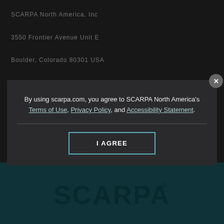SCARPA North America, Inc
3550 Frontier Avenue Unit E
Boulder, Colorado 80301 USA
303-998-2895
[Figure (illustration): Three circular social media icons: Twitter (bird icon), Facebook (f icon), Instagram (camera icon), white on dark background]
Dealer Login   Pro Program   Shipping Policy
Privacy Policy   Terms of Use   Site Map
By using scarpa.com, you agree to SCARPA North America's Terms of Use, Privacy Policy, and Accessibility Statement.
[Figure (logo): SCARPA logo in teal/dark teal color on dark teal background at bottom of page]